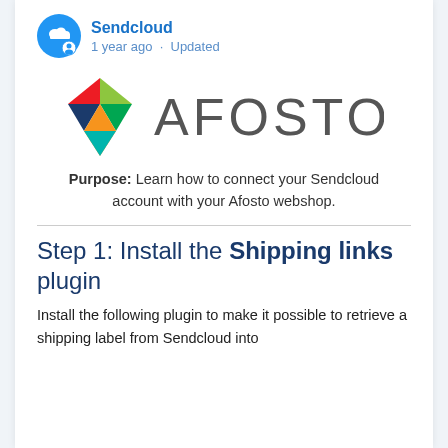Sendcloud · 1 year ago · Updated
[Figure (logo): Afosto logo — colorful geometric cube/diamond shape on left, 'AFOSTO' wordmark in large grey letters on right]
Purpose: Learn how to connect your Sendcloud account with your Afosto webshop.
Step 1: Install the Shipping links plugin
Install the following plugin to make it possible to retrieve a shipping label from Sendcloud into